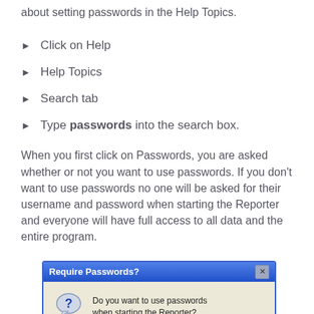about setting passwords in the Help Topics.
Click on Help
Help Topics
Search tab
Type passwords into the search box.
When you first click on Passwords, you are asked whether or not you want to use passwords. If you don't want to use passwords no one will be asked for their username and password when starting the Reporter and everyone will have full access to all data and the entire program.
[Figure (screenshot): A Windows dialog box titled 'Require Passwords?' with a question mark icon, asking 'Do you want to use passwords when starting the Reporter?' and two buttons at the bottom.]